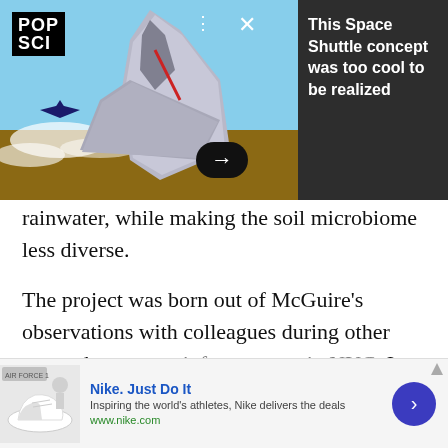[Figure (screenshot): Popular Science (POP SCI) app notification banner showing a Space Shuttle concept image on the left with controls (three-dot menu, close X button, forward arrow), and dark gray right panel with text 'This Space Shuttle concept was too cool to be realized']
rainwater, while making the soil microbiome less diverse.
The project was born out of McGuire’s observations with colleagues during other research on green infrastructure in NYC. In sites like unfenced tree pits, “the soils seemed barren, compacted, and the water from rainfall didn’t seem to penetrate very well” she
[Figure (screenshot): Nike advertisement banner: Nike Air Force 1 shoe image on left, 'Nike. Just Do It' headline in blue, 'Inspiring the world's athletes, Nike delivers the deals' subtitle, 'www.nike.com' URL in green, blue circular arrow button on right]